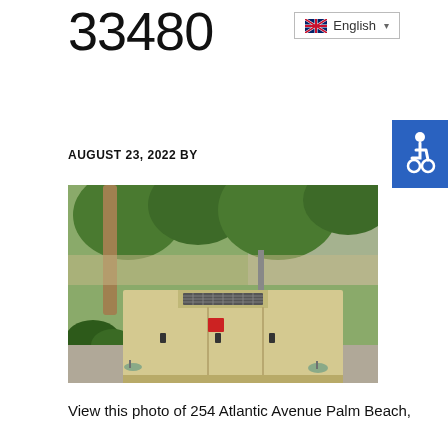33480
AUGUST 23, 2022 BY
[Figure (photo): Outdoor photo of a large beige industrial generator enclosure surrounded by tropical vegetation including palm trees and bushes, with small ground-level lights visible in front, situated against a wall.]
View this photo of 254 Atlantic Avenue Palm Beach,